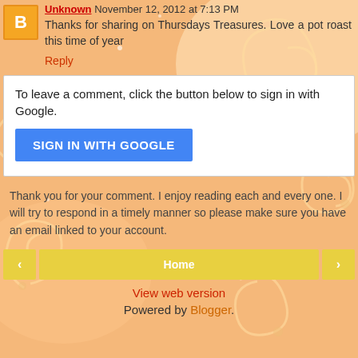Unknown November 12, 2012 at 7:13 PM
Thanks for sharing on Thursdays Treasures. Love a pot roast this time of year
Reply
To leave a comment, click the button below to sign in with Google.
SIGN IN WITH GOOGLE
Thank you for your comment. I enjoy reading each and every one. I will try to respond in a timely manner so please make sure you have an email linked to your account.
Home
View web version
Powered by Blogger.